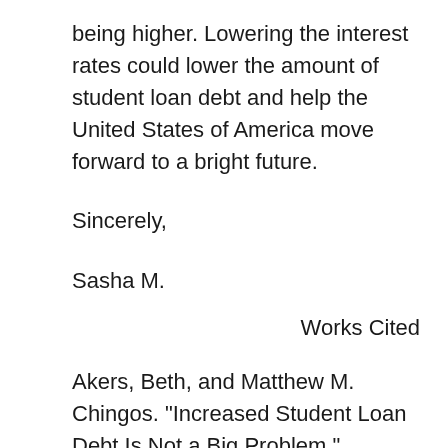being higher. Lowering the interest rates could lower the amount of student loan debt and help the United States of America move forward to a bright future.
Sincerely,
Sasha M.
Works Cited
Akers, Beth, and Matthew M. Chingos. "Increased Student Loan Debt Is Not a Big Problem." Student Loans. Ed. Noël Merino. Farmington Hills, MI: Greenhaven, 2016. At Issue. Rpt. of "Is a Student